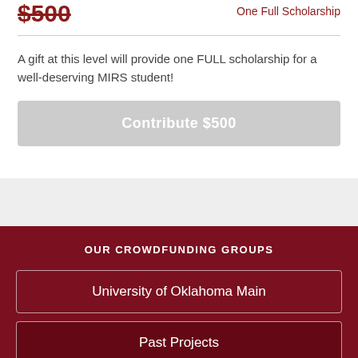A gift at this level will provide one FULL scholarship for a well-deserving MIRS student!
Contribute $500
OUR CROWDFUNDING GROUPS
University of Oklahoma Main
Past Projects
OU Giving Day 2017